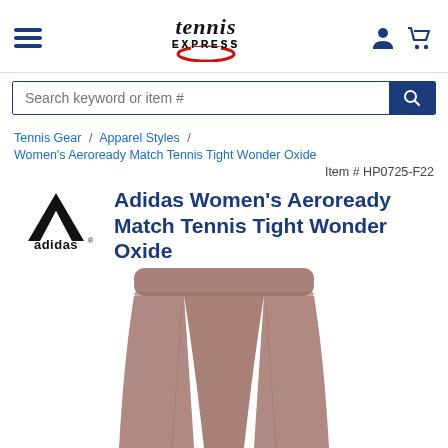[Figure (logo): Tennis Express website header with hamburger menu icon, Tennis Express logo (stylized text with red circle underline), user account icon, and shopping cart icon]
Search keyword or item #
Tennis Gear / Apparel Styles /
Women's Aeroready Match Tennis Tight Wonder Oxide
Item # HP0725-F22
Adidas Women's Aeroready Match Tennis Tight Wonder Oxide
[Figure (photo): Adidas Women's Aeroready Match Tennis Tight in Wonder Oxide (mauve/brown color) — bottom portion of leggings shown from waist to mid-thigh, on white background]